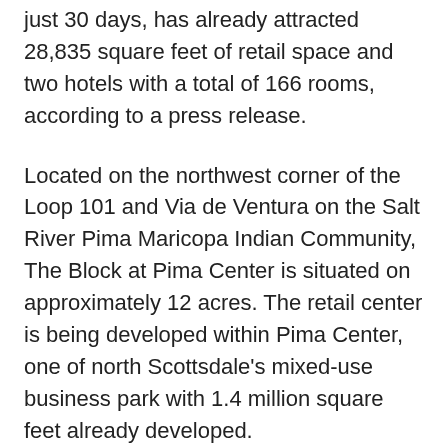just 30 days, has already attracted 28,835 square feet of retail space and two hotels with a total of 166 rooms, according to a press release.
Located on the northwest corner of the Loop 101 and Via de Ventura on the Salt River Pima Maricopa Indian Community, The Block at Pima Center is situated on approximately 12 acres. The retail center is being developed within Pima Center, one of north Scottsdale's mixed-use business park with 1.4 million square feet already developed.
Texas Roadhouse is currently negotiating a lease to occupy 7,163 square feet of space in a free-standing building. The restaurant chain currently operates 17 locations in Arizona and The Block will be its first